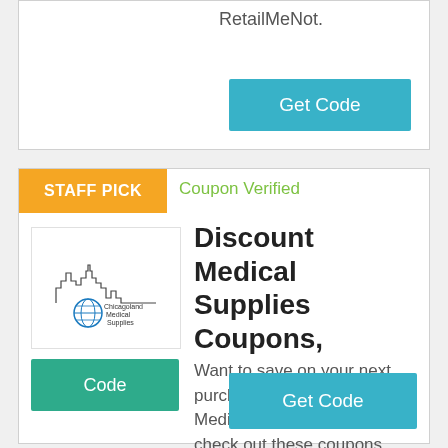RetailMeNot.
Get Code
STAFF PICK
Coupon Verified
[Figure (logo): Chicagoland Medical Supplies logo with city skyline and globe icon]
Code
Discount Medical Supplies Coupons,
Want to save on your next purchase from Discount Medical Supplies? Then check out these coupons, promo codes and sales from Groupon Coupons!
Get Code